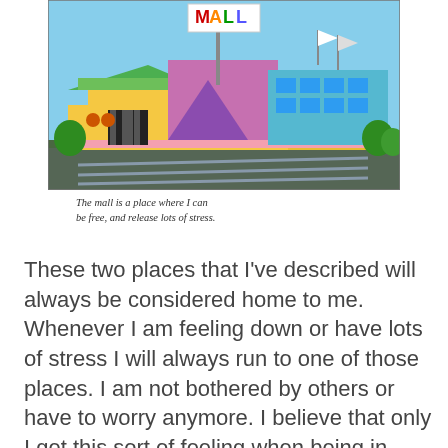[Figure (illustration): Colorful cartoon illustration of a shopping mall building with a large sign reading 'MALL' on top, flags, colorful geometric architecture in yellow, pink, green, teal, set against a blue sky.]
The mall is a place where I can be free, and release lots of stress.
These two places that I've described will always be considered home to me. Whenever I am feeling down or have lots of stress I will always run to one of those places. I am not bothered by others or have to worry anymore. I believe that only I get this sort of feeling when being in these places. I know that most people focus in on one specific place, but they both give me the same feeling inside. I am able to be myself and escape when I am in either one of these places. So home can be considered how the place makes you feel or what you